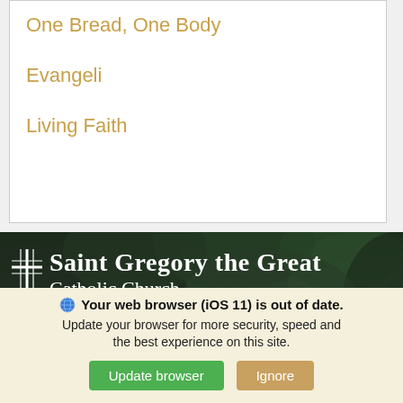One Bread, One Body
Evangeli
Living Faith
[Figure (photo): Dark banner with foliage background showing Saint Gregory the Great Catholic Church name and cross logo, with address 11451 Blue Cypress Drive, San Diego, CA 92131]
Your web browser (iOS 11) is out of date. Update your browser for more security, speed and the best experience on this site.
Update browser | Ignore